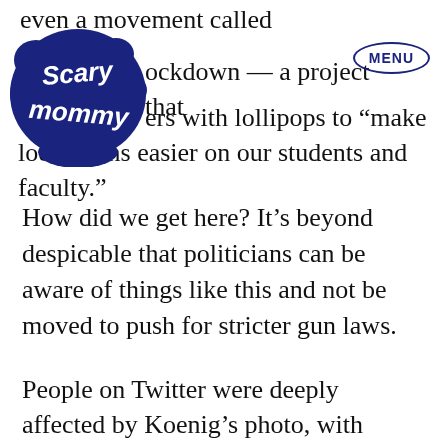even a movement called [logo] lockdown — a project that [MENU] ers with lollipops to “make lockdowns easier on our students and faculty.”
[Figure (logo): Scary Mommy logo — dark navy blue swirly text on cloud-like badge]
How did we get here? It’s beyond despicable that politicians can be aware of things like this and not be moved to push for stricter gun laws.
People on Twitter were deeply affected by Koenig’s photo, with people from all over the world sharing their outrage and sorrow.